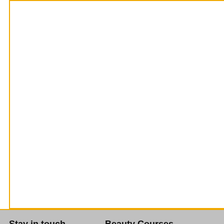Waxing with NVQ Upgrade
ABT accredited Waxing co
ABT accredited Waxing co
Video
Check out our video channe
Stay in touch
Beauty Courses
Massage Courses
Contact Us
Facebook
Twitter
LinkedIn
YouTube
Blog
Intimate Waxing
Electrolysis
UV Gel Nails
Brow & Lash Tinting
Cosmetic Makeup
The Perfect Brow
Threading
Professional Skincare & Facials
Spray Tanning
Eyelash Extensions
Electrical Facials
Electrical Body
Holistic Facials
Diamond Peel Microdermabrasion
Natural Facelift Massage
Waxing
Manicures & Pedicures
Heated Holistic Bamboo Mas
Hot Stone Massage
Indian Head Massage
Swedish Body Massage
Reflexology
Anatomy & Physiology
Advanced Aromatherapy Ma
Aromatherapy Beginners Co